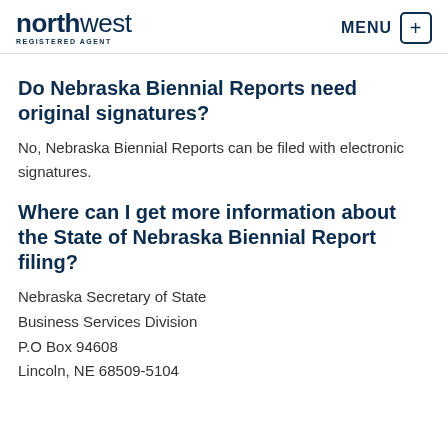northwest REGISTERED AGENT | MENU
Do Nebraska Biennial Reports need original signatures?
No, Nebraska Biennial Reports can be filed with electronic signatures.
Where can I get more information about the State of Nebraska Biennial Report filing?
Nebraska Secretary of State
Business Services Division
P.O Box 94608
Lincoln, NE 68509-5104